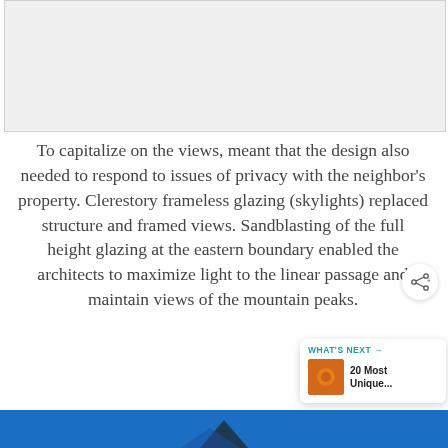[Figure (photo): Top image placeholder, light gray background, partially visible photo above text]
To capitalize on the views, meant that the design also needed to respond to issues of privacy with the neighbor's property. Clerestory frameless glazing (skylights) replaced structure and framed views. Sandblasting of the full height glazing at the eastern boundary enabled the architects to maximize light to the linear passage and maintain views of the mountain peaks.
[Figure (photo): Bottom image showing a building with blue sky background, partially visible]